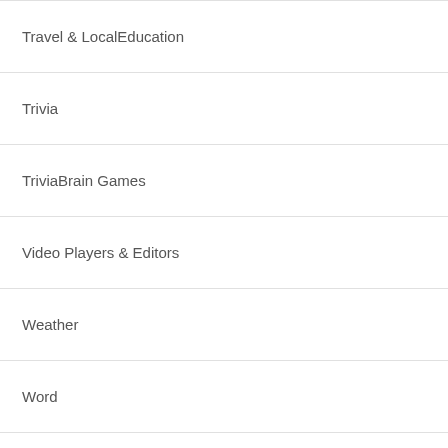Travel & LocalEducation
Trivia
TriviaBrain Games
Video Players & Editors
Weather
Word
WordBrain Games
WordEducation
Best Apps
MX Player Codec (ARMv6)
1.7.39